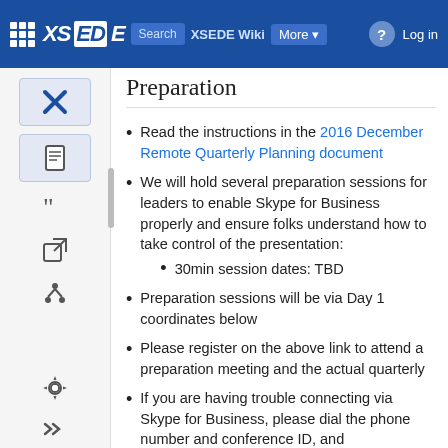XSEDE Wiki | Search | More | Log in
Preparation
Read the instructions in the 2016 December Remote Quarterly Planning document
We will hold several preparation sessions for leaders to enable Skype for Business properly and ensure folks understand how to take control of the presentation: 30min session dates: TBD
Preparation sessions will be via Day 1 coordinates below
Please register on the above link to attend a preparation meeting and the actual quarterly
If you are having trouble connecting via Skype for Business, please dial the phone number and conference ID, and